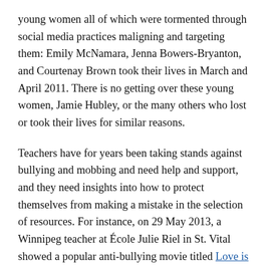young women all of which were tormented through social media practices maligning and targeting them: Emily McNamara, Jenna Bowers-Bryanton, and Courtenay Brown took their lives in March and April 2011. There is no getting over these young women, Jamie Hubley, or the many others who lost or took their lives for similar reasons.
Teachers have for years been taking stands against bullying and mobbing and need help and support, and they need insights into how to protect themselves from making a mistake in the selection of resources. For instance, on 29 May 2013, a Winnipeg teacher at École Julie Riel in St. Vital showed a popular anti-bullying movie titled Love is All You Need?, using the YouTube version. It's a professionally produced movie with a powerful message. Writer and